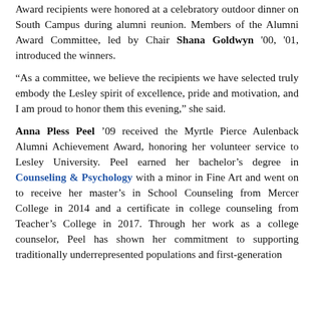Award recipients were honored at a celebratory outdoor dinner on South Campus during alumni reunion. Members of the Alumni Award Committee, led by Chair Shana Goldwyn '00, '01, introduced the winners.
“As a committee, we believe the recipients we have selected truly embody the Lesley spirit of excellence, pride and motivation, and I am proud to honor them this evening,” she said.
Anna Pless Peel '09 received the Myrtle Pierce Aulenback Alumni Achievement Award, honoring her volunteer service to Lesley University. Peel earned her bachelor’s degree in Counseling & Psychology with a minor in Fine Art and went on to receive her master’s in School Counseling from Mercer College in 2014 and a certificate in college counseling from Teacher’s College in 2017. Through her work as a college counselor, Peel has shown her commitment to supporting traditionally underrepresented populations and first-generation